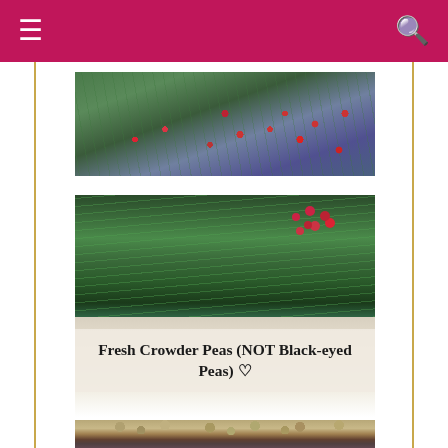≡  🔍
[Figure (photo): Photo of plant branches with small red berries against a blurred green and purple background]
[Figure (photo): Photo of a garden with green grass-like plants and red flowers in background, with a white plate of fresh crowder peas in foreground; caption overlay reads 'Fresh Crowder Peas (NOT Black-eyed Peas) ♥']
[Figure (photo): Close-up photo of fresh crowder peas on a white plate with dark mesh/grill surface visible below]